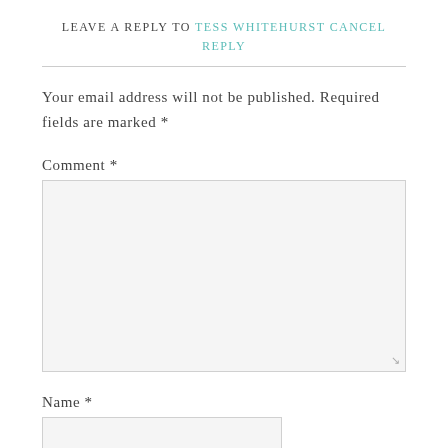LEAVE A REPLY TO TESS WHITEHURST CANCEL REPLY
Your email address will not be published. Required fields are marked *
Comment *
Name *